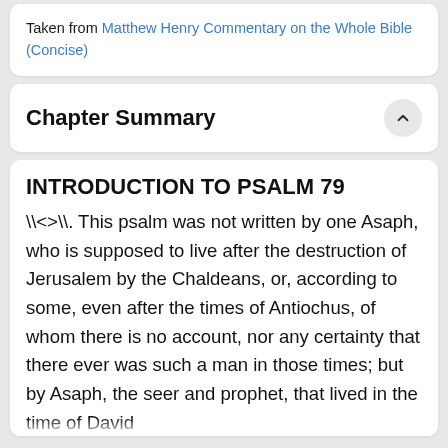Taken from Matthew Henry Commentary on the Whole Bible (Concise)
Chapter Summary
INTRODUCTION TO PSALM 79
\<>\. This psalm was not written by one Asaph, who is supposed to live after the destruction of Jerusalem by the Chaldeans, or, according to some, even after the times of Antiochus, of whom there is no account, nor any certainty that there ever was such a man in those times; but by Asaph, the seer and prophet, that lived in the time of David